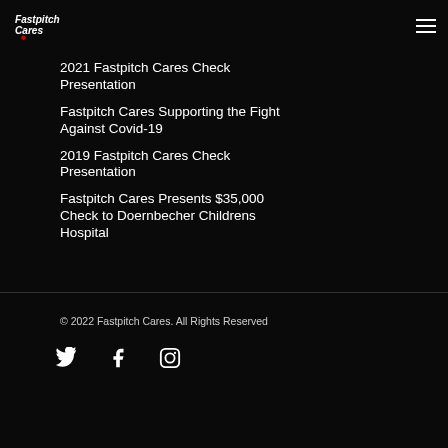Fastpitch Cares logo and navigation menu
2021 Fastpitch Cares Check Presentation
Fastpitch Cares Supporting the Fight Against Covid-19
2019 Fastpitch Cares Check Presentation
Fastpitch Cares Presents $35,000 Check to Doernbecher Childrens Hospital
© 2022 Fastpitch Cares. All Rights Reserved